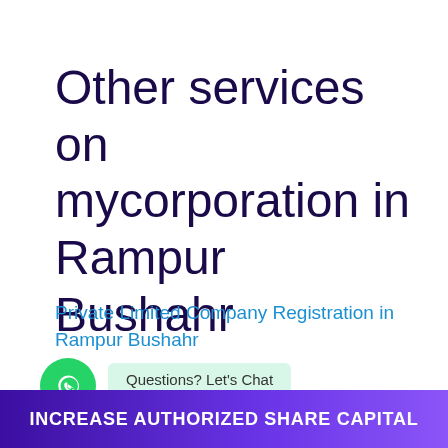Other services on mycorporation in Rampur Bushahr
Private Limited Company Registration in Rampur Bushahr
One Person Company Registration in
INCREASE AUTHORIZED SHARE CAPITAL